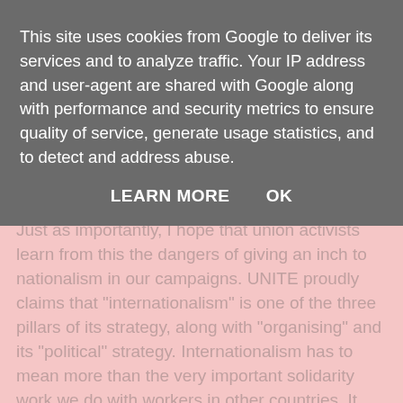This site uses cookies from Google to deliver its services and to analyze traffic. Your IP address and user-agent are shared with Google along with performance and security metrics to ensure quality of service, generate usage statistics, and to detect and address abuse.
LEARN MORE   OK
I hope the strikes result in improvements in workers' rights and the overturning of the ECJ rulings. Contrary what the Liberal Democrats have been saying, this doesn't mean abandoning EU employment law, it means giving it priority over the rights of companies to make bigger profits regardless of the social consequences.
Just as importantly, I hope that union activists learn from this the dangers of giving an inch to nationalism in our campaigns. UNITE proudly claims that "internationalism" is one of the three pillars of its strategy, along with "organising" and its "political" strategy. Internationalism has to mean more than the very important solidarity work we do with workers in other countries. It has to mean a deep commitment to unity between workers in the UK, regardless of their origins. That